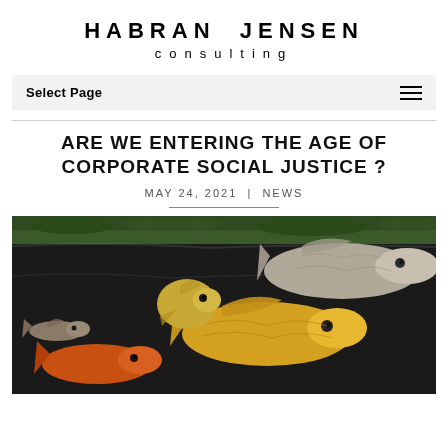HABRAN JENSEN consulting
Select Page
ARE WE ENTERING THE AGE OF CORPORATE SOCIAL JUSTICE ?
MAY 24, 2021 | NEWS
[Figure (photo): Underwater photo showing several koi and goldfish — yellow, orange, and silver-grey fish swimming together against a dark background with green algae/grass visible at the top.]